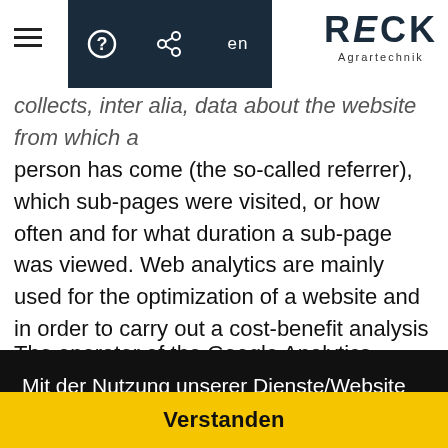RECK Agrartechnik — navigation header with hamburger menu, help, share, language (en) icons
collects, inter alia, data about the website from which a person has come (the so-called referrer), which sub-pages were visited, or how often and for what duration a sub-page was viewed. Web analytics are mainly used for the optimization of a website and in order to carry out a cost-benefit analysis of Internet advertising.
The operator of the Google Analytics component is Google Inc., 1600 Amphitheatre Pkwy, Mountain View, CA 94043-
Mit der Nutzung unserer Dienste/Website erklären Sie sich damit einverstanden, dass wir Cookies verwenden  mehr Informationen
Verstanden
anonymised when accessing our websites from a member State of the European Union or another Contracting State